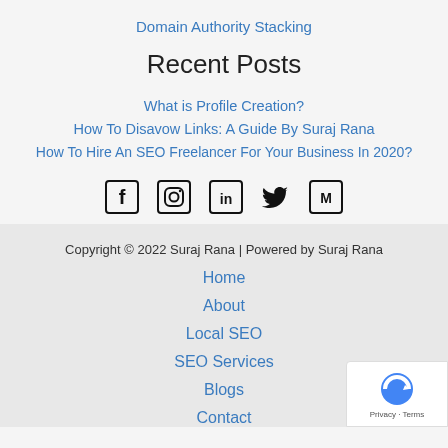Domain Authority Stacking
Recent Posts
What is Profile Creation?
How To Disavow Links: A Guide By Suraj Rana
How To Hire An SEO Freelancer For Your Business In 2020?
[Figure (other): Social media icons: Facebook, Instagram, LinkedIn, Twitter, Medium]
Copyright © 2022 Suraj Rana | Powered by Suraj Rana
Home
About
Local SEO
SEO Services
Blogs
Contact